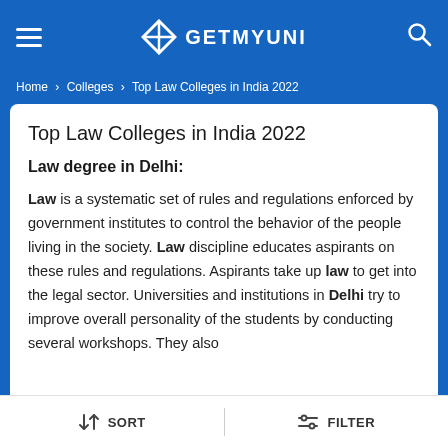GETMYUNI
Home > Colleges > Top Law Colleges in India 2022
Top Law Colleges in India 2022
Law degree in Delhi:
Law is a systematic set of rules and regulations enforced by government institutes to control the behavior of the people living in the society. Law discipline educates aspirants on these rules and regulations. Aspirants take up law to get into the legal sector. Universities and institutions in Delhi try to improve overall personality of the students by conducting several workshops. They also
Show More
SORT   FILTER